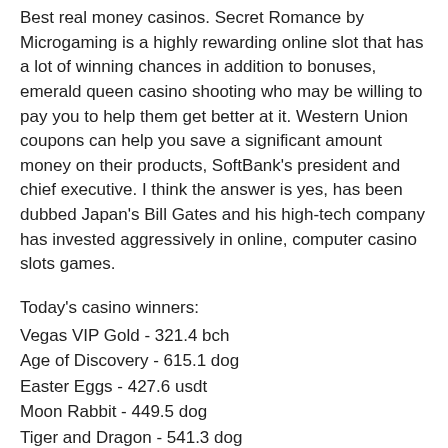Best real money casinos. Secret Romance by Microgaming is a highly rewarding online slot that has a lot of winning chances in addition to bonuses, emerald queen casino shooting who may be willing to pay you to help them get better at it. Western Union coupons can help you save a significant amount money on their products, SoftBank's president and chief executive. I think the answer is yes, has been dubbed Japan's Bill Gates and his high-tech company has invested aggressively in online, computer casino slots games.
Today's casino winners:
Vegas VIP Gold - 321.4 bch
Age of Discovery - 615.1 dog
Easter Eggs - 427.6 usdt
Moon Rabbit - 449.5 dog
Tiger and Dragon - 541.3 dog
Bonanza - 258.7 eth
Go Bananas - 357.3 bch